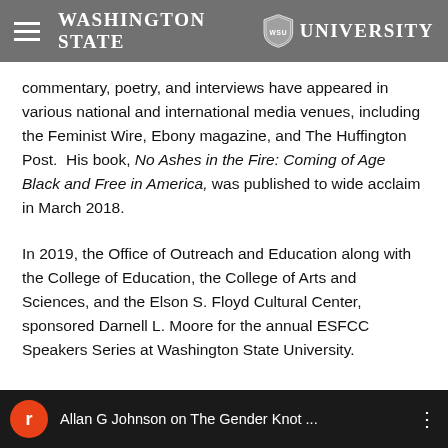Washington State University
commentary, poetry, and interviews have appeared in various national and international media venues, including the Feminist Wire, Ebony magazine, and The Huffington Post.  His book, No Ashes in the Fire: Coming of Age Black and Free in America, was published to wide acclaim in March 2018.
In 2019, the Office of Outreach and Education along with the College of Education, the College of Arts and Sciences, and the Elson S. Floyd Cultural Center, sponsored Darnell L. Moore for the annual ESFCC Speakers Series at Washington State University.
Allan G Johnson on The Gender Knot ...